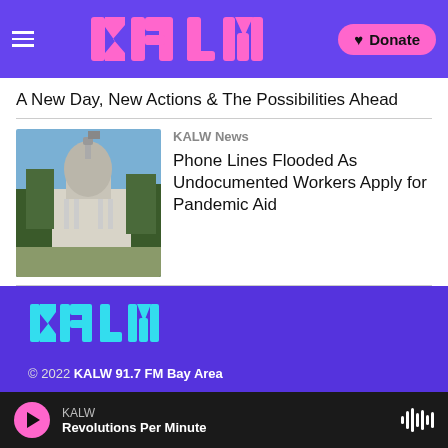KALW | Donate
A New Day, New Actions & The Possibilities Ahead
KALW News
Phone Lines Flooded As Undocumented Workers Apply for Pandemic Aid
[Figure (photo): Photo of a government building dome with trees]
© 2022 KALW 91.7 FM Bay Area
Mission
KALW – Revolutions Per Minute